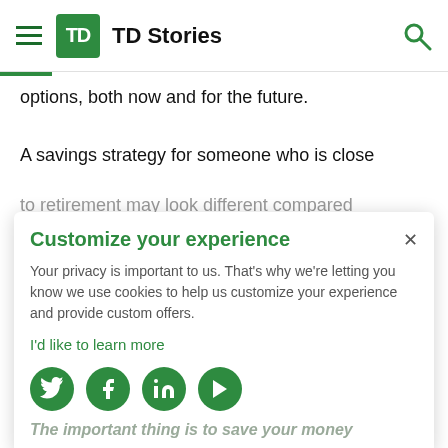TD Stories
options, both now and for the future.
A savings strategy for someone who is close to retirement may look different compared to someone who is just entering the workforce. Likewise, if your main goal is buying your first home, you may want to make different financial choices than an entrepreneur who is looking to start or build their business.
Customize your experience
Your privacy is important to us. That's why we're letting you know we use cookies to help us customize your experience and provide custom offers.
I'd like to learn more
The important thing is to save your money